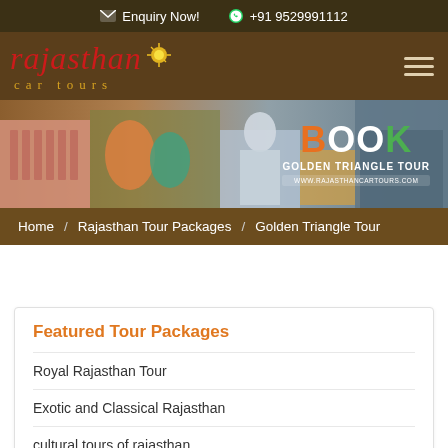✉ Enquiry Now!   +91 9529991112
[Figure (logo): Rajasthan Car Tours logo with red italic script 'rajasthan', sun icon, and yellow 'car tours' text below]
[Figure (photo): Banner image showing Rajasthan tourist scenes with text BOOK GOLDEN TRIANGLE TOUR and website URL]
Home / Rajasthan Tour Packages / Golden Triangle Tour
Featured Tour Packages
Royal Rajasthan Tour
Exotic and Classical Rajasthan
cultural tours of rajasthan